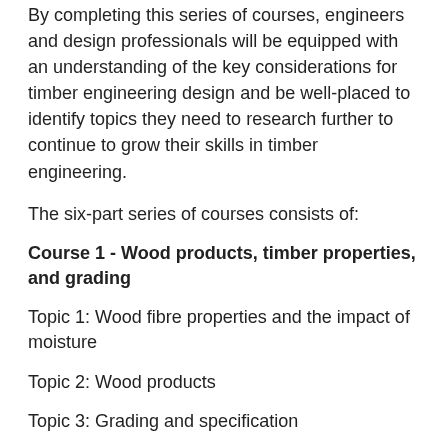By completing this series of courses, engineers and design professionals will be equipped with an understanding of the key considerations for timber engineering design and be well-placed to identify topics they need to research further to continue to grow their skills in timber engineering.
The six-part series of courses consists of:
Course 1 - Wood products, timber properties, and grading
Topic 1: Wood fibre properties and the impact of moisture
Topic 2: Wood products
Topic 3: Grading and specification
Course 2 - Engineering design to AS1720.1 and alternative methods
Topic 1 - AS 1720.1 Capacity factor and k factors